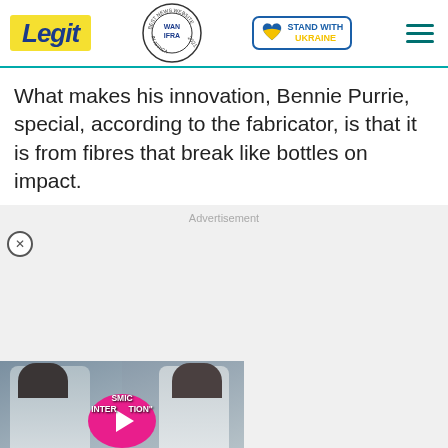Legit | WAN IFRA Best News Website in Africa 2021 | Stand with Ukraine
What makes his innovation, Bennie Purrie, special, according to the fabricator, is that it is from fibres that break like bottles on impact.
Advertisement
[Figure (screenshot): Video player showing two people in white clothing with a pink play button circle overlay and text 'COSMIC INTERVENTION'. Red collapse button at bottom right.]
[Figure (infographic): Bottom banner ad: 'Help Protect Ukrainian Families' with DONATE NOW button and Ukraine heart logo. Close X button top right.]